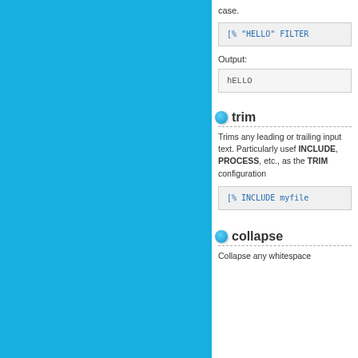case.
[% "HELLO" FILTER
Output:
hELLO
trim
Trims any leading or trailing input text. Particularly useful INCLUDE, PROCESS, etc., as the TRIM configuration
[% INCLUDE myfile
collapse
Collapse any whitespace